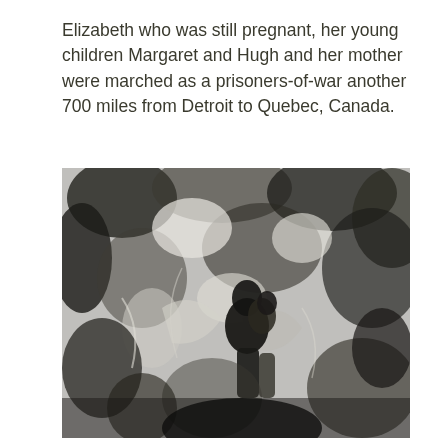Elizabeth who was still pregnant, her young children Margaret and Hugh and her mother were marched as a prisoners-of-war another 700 miles from Detroit to Quebec, Canada.
[Figure (photo): A grainy black and white photograph showing a person, possibly carrying a child, amid a dark and textured outdoor background with snow or foliage visible.]